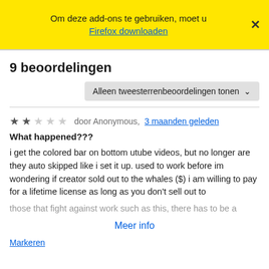Om deze add-ons te gebruiken, moet u Firefox downloaden
9 beoordelingen
Alleen tweesterrenbeoordelingen tonen
★★☆☆☆ door Anonymous, 3 maanden geleden
What happened???
i get the colored bar on bottom utube videos, but no longer are they auto skipped like i set it up. used to work before im wondering if creator sold out to the whales ($) i am willing to pay for a lifetime license as long as you don't sell out to those that fight against work such as this, there has to be a
Meer info
Markeren